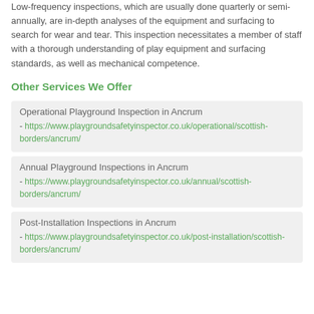Low-frequency inspections, which are usually done quarterly or semi-annually, are in-depth analyses of the equipment and surfacing to search for wear and tear. This inspection necessitates a member of staff with a thorough understanding of play equipment and surfacing standards, as well as mechanical competence.
Other Services We Offer
Operational Playground Inspection in Ancrum - https://www.playgroundsafetyinspector.co.uk/operational/scottish-borders/ancrum/
Annual Playground Inspections in Ancrum - https://www.playgroundsafetyinspector.co.uk/annual/scottish-borders/ancrum/
Post-Installation Inspections in Ancrum - https://www.playgroundsafetyinspector.co.uk/post-installation/scottish-borders/ancrum/